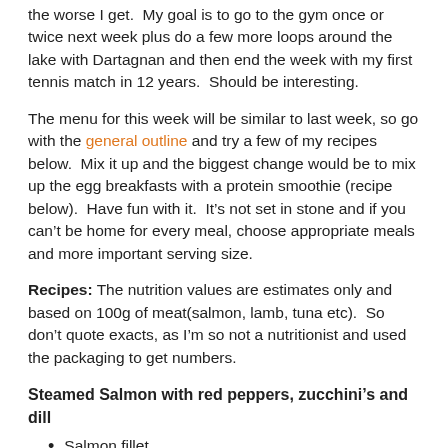the worse I get.  My goal is to go to the gym once or twice next week plus do a few more loops around the lake with Dartagnan and then end the week with my first tennis match in 12 years.  Should be interesting.
The menu for this week will be similar to last week, so go with the general outline and try a few of my recipes below.  Mix it up and the biggest change would be to mix up the egg breakfasts with a protein smoothie (recipe below).  Have fun with it.  It’s not set in stone and if you can’t be home for every meal, choose appropriate meals and more important serving size.
Recipes: The nutrition values are estimates only and based on 100g of meat(salmon, lamb, tuna etc).  So don’t quote exacts, as I’m so not a nutritionist and used the packaging to get numbers.
Steamed Salmon with red peppers, zucchini’s and dill
Salmon fillet
Red peppers and zucchini’s thinly sliced.